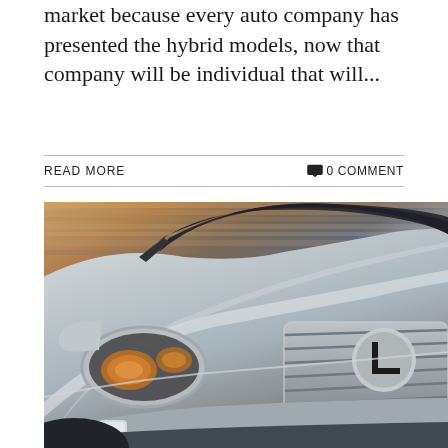market because every auto company has presented the hybrid models, now that company will be individual that will...
READ MORE   0 COMMENT
[Figure (photo): Front view of a silver Lexus luxury sedan in motion, showing the grille with Lexus logo, headlights, and hood, against a blurred warm-toned background.]